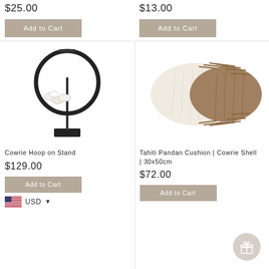$25.00
Add to Cart
$13.00
Add to Cart
[Figure (photo): Cowrie Hoop on Stand - decorative black metal hoop with cowrie shells on a black stand]
Cowrie Hoop on Stand
$129.00
Add to Cart
USD
[Figure (photo): Tahiti Pandan Cushion with cowrie shell - cream/natural pillow with fringe detail]
Tahiti Pandan Cushion | Cowrie Shell | 30x50cm
$72.00
Add to Cart